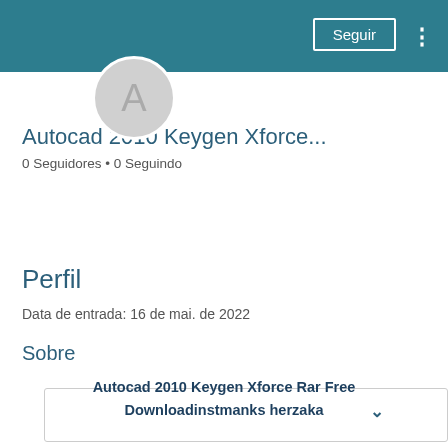Seguir
[Figure (illustration): Circular avatar with letter A on teal header background]
Autocad 2010 Keygen Xforce...
0 Seguidores • 0 Seguindo
[Figure (other): Dropdown selector box with chevron]
Perfil
Data de entrada: 16 de mai. de 2022
Sobre
Autocad 2010 Keygen Xforce Rar Free Downloadinstmanks herzaka